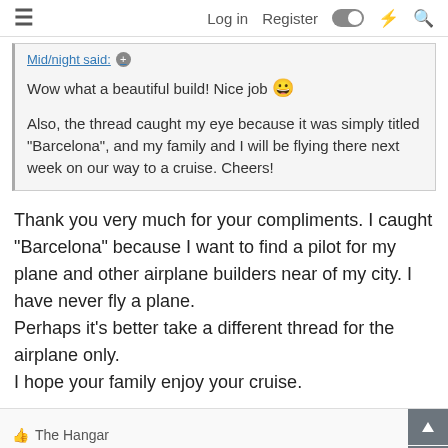Log in  Register
Mid/night said: 
Wow what a beautiful build! Nice job 😀

Also, the thread caught my eye because it was simply titled "Barcelona", and my family and I will be flying there next week on our way to a cruise. Cheers!
Thank you very much for your compliments. I caught "Barcelona" because I want to find a pilot for my plane and other airplane builders near of my city. I have never fly a plane.
Perhaps it's better take a different thread for the airplane only.
I hope your family enjoy your cruise.
The Hangar